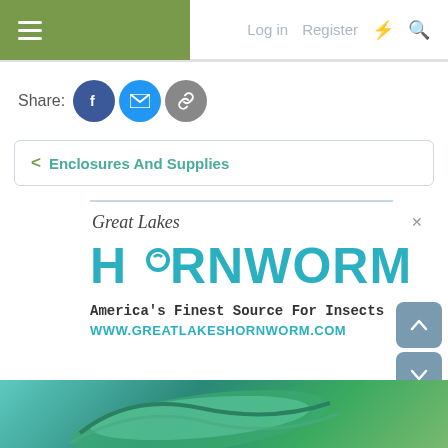Log in  Register
Share:
< Enclosures And Supplies
[Figure (logo): Great Lakes Hornworm advertisement logo with teal HORNWORM text and tagline 'America's Finest Source For Insects' and URL www.greatlakeshornworm.com]
[Figure (illustration): Bottom strip showing green hornworm caterpillar illustration on teal/green background]